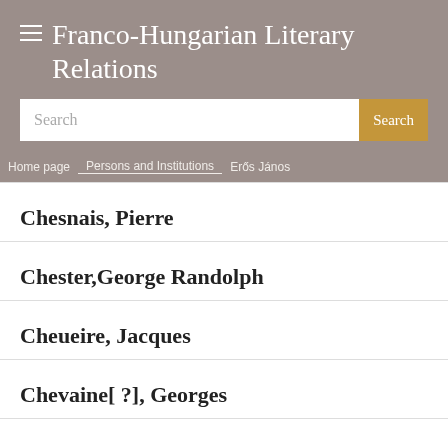Franco-Hungarian Literary Relations
Home page > Persons and Institutions > Erős János
Chesnais, Pierre
Chester,George Randolph
Cheueire, Jacques
Chevaine[ ?], Georges